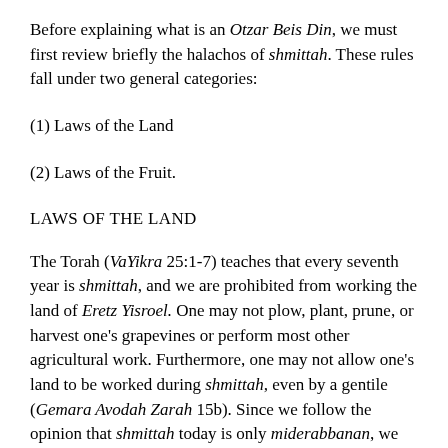Before explaining what is an Otzar Beis Din, we must first review briefly the halachos of shmittah. These rules fall under two general categories:
(1) Laws of the Land
(2) Laws of the Fruit.
LAWS OF THE LAND
The Torah (VaYikra 25:1-7) teaches that every seventh year is shmittah, and we are prohibited from working the land of Eretz Yisroel. One may not plow, plant, prune, or harvest one's grapevines or perform most other agricultural work. Furthermore, one may not allow one's land to be worked during shmittah, even by a gentile (Gemara Avodah Zarah 15b). Since we follow the opinion that shmittah today is only miderabbanan, we have one leniency